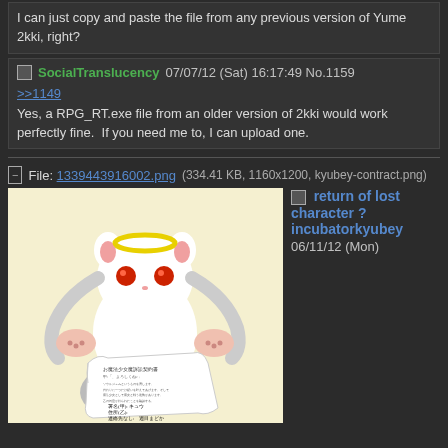I can just copy and paste the file from any previous version of Yume 2kki, right?
SocialTranslucency 07/07/12 (Sat) 16:17:49 No.1159
>>1149
Yes, a RPG_RT.exe file from an older version of 2kki would work perfectly fine.  If you need me to, I can upload one.
File: 1339443916002.png (334.41 KB, 1160x1200, kyubey-contract.png)
[Figure (illustration): Illustration of Kyubey (white cat-like creature from Madoka Magica) with red eyes and a yellow halo ring, holding a Japanese contract/document scroll. The background is light yellow/cream.]
return of lost character ?
incubatorkyubey
06/11/12 (Mon)